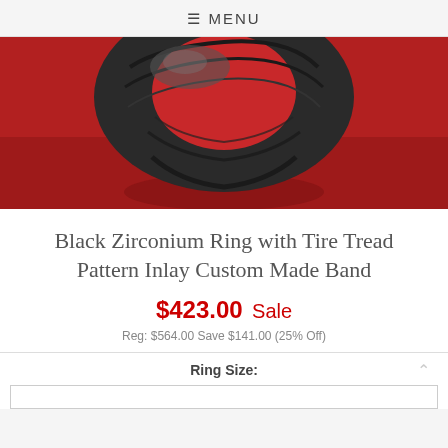☰ MENU
[Figure (photo): Product photo of a black zirconium ring with tire tread pattern inlay on a red background]
Black Zirconium Ring with Tire Tread Pattern Inlay Custom Made Band
$423.00 Sale
Reg: $564.00 Save $141.00 (25% Off)
Ring Size: